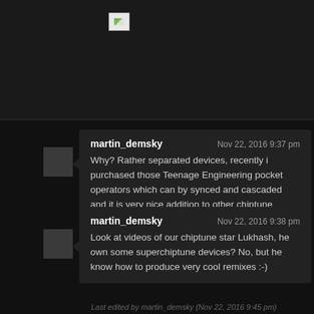[Figure (other): Broken image placeholder at top of page]
martin_demsky
Nov 22, 2016 9:37 pm
Why? Rather separated devices, recently i purchased those Teenage Engineering pocket operators which can by synced and cascaded and it is very nice addition to other chiptune devices like zx128k+, c64, 3x nintendo dmg01s. and todays computers with chiptune trackers are also respected in our circles
martin_demsky
Nov 22, 2016 9:38 pm
Look at videos of our chiptune star Lukhash, he own some superchiptune devices? No, but he know how to produce very cool remixes :-)
Last edited by martin_demsky (Nov 22, 2016 9:45 pm)